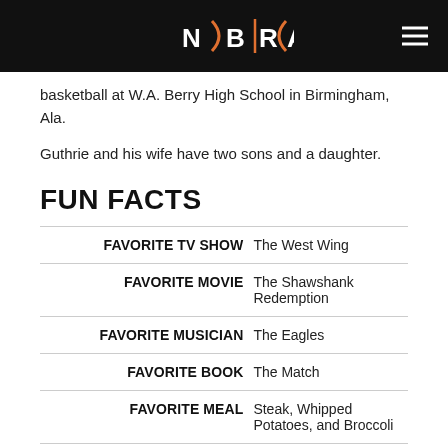NBRA logo and navigation menu
basketball at W.A. Berry High School in Birmingham, Ala.
Guthrie and his wife have two sons and a daughter.
FUN FACTS
| Label | Value |
| --- | --- |
| FAVORITE TV SHOW | The West Wing |
| FAVORITE MOVIE | The Shawshank Redemption |
| FAVORITE MUSICIAN | The Eagles |
| FAVORITE BOOK | The Match |
| FAVORITE MEAL | Steak, Whipped Potatoes, and Broccoli |
| FAVORITE APP | The Chive |
| WOULD MOST LIKE TO VISIT |  |